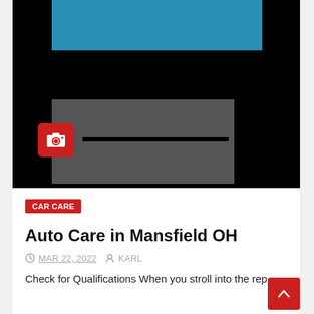[Figure (photo): A dark/black background image with a teal/blue horizontal bar at top, gray rectangular shapes in the middle forming a stylized letter or logo, and a red camera icon overlay at bottom left. This appears to be a placeholder or thumbnail image for an article.]
CAR CARE
Auto Care in Mansfield OH
MAR 22, 2022   KARL
Check for Qualifications When you stroll into the rep...